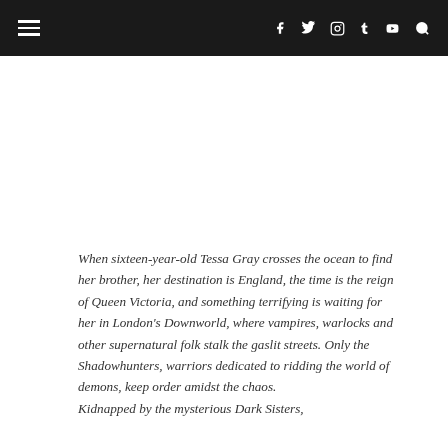Navigation and social icons header
When sixteen-year-old Tessa Gray crosses the ocean to find her brother, her destination is England, the time is the reign of Queen Victoria, and something terrifying is waiting for her in London's Downworld, where vampires, warlocks and other supernatural folk stalk the gaslit streets. Only the Shadowhunters, warriors dedicated to ridding the world of demons, keep order amidst the chaos. Kidnapped by the mysterious Dark Sisters,